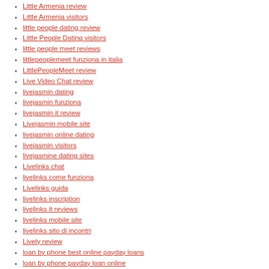Little Armenia review
Little Armenia visitors
little people dating review
Little People Dating visitors
little people meet reviews
littlepeoplemeet funziona in italia
LittlePeopleMeet review
Live Video Chat review
livejasmin dating
livejasmin funziona
livejasmin it review
Livejasmin mobile site
livejasmin online dating
livejasmin visitors
livejasmine dating sites
Livelinks chat
livelinks come funziona
Livelinks guida
livelinks inscription
livelinks it reviews
livelinks mobile site
livelinks sito di incontri
Lively review
loan by phone best online payday loans
loan by phone payday loan online